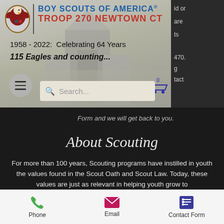[Figure (screenshot): Boy Scouts of America Troop 270 Newtown CT website banner with BSA logo, title, celebrating text, hamburger menu, search bar, and cart icon overlaid on a foggy building background]
BOY SCOUTS OF AMERICA® TROOP 270 NEWTOWN CT
1958 - 2022:  Celebrating 64 Years
115 Eagles and counting...
Form and we will get back to you.
About Scouting
For more than 100 years, Scouting programs have instilled in youth the values found in the Scout Oath and Scout Law. Today, these values are just as relevant in helping youth grow to
Phone  Email  Contact Form